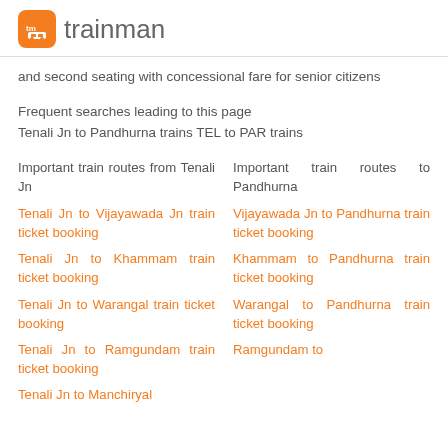tm trainman
and second seating with concessional fare for senior citizens
Frequent searches leading to this page
Tenali Jn to Pandhurna trains TEL to PAR trains
Important train routes from Tenali Jn
Tenali Jn to Vijayawada Jn train ticket booking
Tenali Jn to Khammam train ticket booking
Tenali Jn to Warangal train ticket booking
Tenali Jn to Ramgundam train ticket booking
Tenali Jn to Manchiryal
Important train routes to Pandhurna
Vijayawada Jn to Pandhurna train ticket booking
Khammam to Pandhurna train ticket booking
Warangal to Pandhurna train ticket booking
Ramgundam to